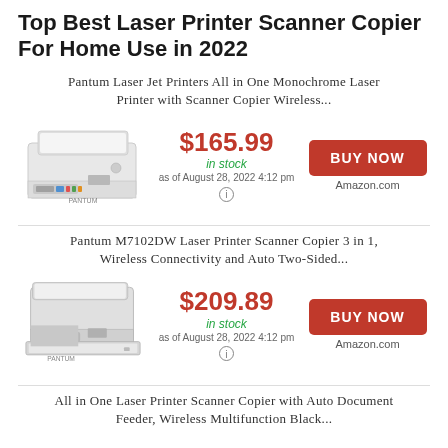Top Best Laser Printer Scanner Copier For Home Use in 2022
Pantum Laser Jet Printers All in One Monochrome Laser Printer with Scanner Copier Wireless...
[Figure (photo): Photo of a white Pantum all-in-one laser printer with scanner]
$165.99 in stock as of August 28, 2022 4:12 pm
BUY NOW Amazon.com
Pantum M7102DW Laser Printer Scanner Copier 3 in 1, Wireless Connectivity and Auto Two-Sided...
[Figure (photo): Photo of a white Pantum M7102DW all-in-one laser printer scanner copier]
$209.89 in stock as of August 28, 2022 4:12 pm
BUY NOW Amazon.com
All in One Laser Printer Scanner Copier with Auto Document Feeder, Wireless Multifunction Black...